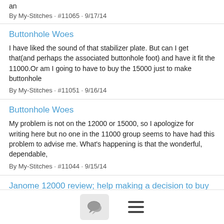an
By My-Stitches · #11065 · 9/17/14
Buttonhole Woes
I have liked the sound of that stabilizer plate. But can I get that(and perhaps the associated buttonhole foot) and have it fit the 11000.Or am I going to have to buy the 15000 just to make buttonhole
By My-Stitches · #11051 · 9/16/14
Buttonhole Woes
My problem is not on the 12000 or 15000, so I apologize for writing here but no one in the 11000 group seems to have had this problem to advise me. What's happening is that the wonderful, dependable,
By My-Stitches · #11044 · 9/15/14
Janome 12000 review; help making a decision to buy
I don't have the 12000 but I've had the 11000 for many years
[Figure (other): Bottom navigation bar with chat bubble icon button and hamburger menu icon]